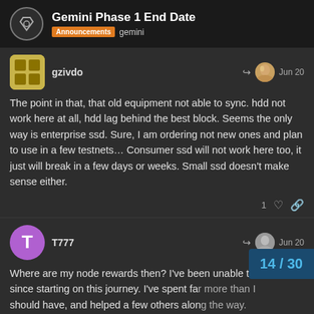Gemini Phase 1 End Date — Announcements gemini
gzivdo — Jun 20
The point in that, that old equipment not able to sync. hdd not work here at all, hdd lag behind the best block. Seems the only way is enterprise ssd. Sure, I am ordering not new ones and plan to use in a few testnets… Consumer ssd will not work here too, it just will break in a few days or weeks. Small ssd doesn't make sense either.
T777 — Jun 20
Where are my node rewards then? I've been unable to sync up since starting on this journey. I've spent fa should have, and helped a few others alon
14 / 30